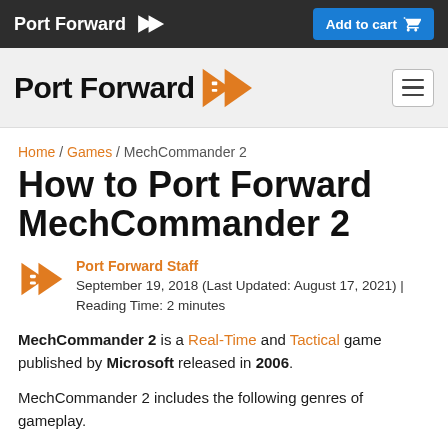Port Forward | Add to cart
[Figure (logo): Port Forward logo with chevron icon in white on dark background, and Add to cart button in blue]
[Figure (logo): Port Forward large logo with orange chevron icon and hamburger menu button]
Home / Games / MechCommander 2
How to Port Forward MechCommander 2
Port Forward Staff
September 19, 2018 (Last Updated: August 17, 2021) | Reading Time: 2 minutes
MechCommander 2 is a Real-Time and Tactical game published by Microsoft released in 2006.
MechCommander 2 includes the following genres of gameplay.